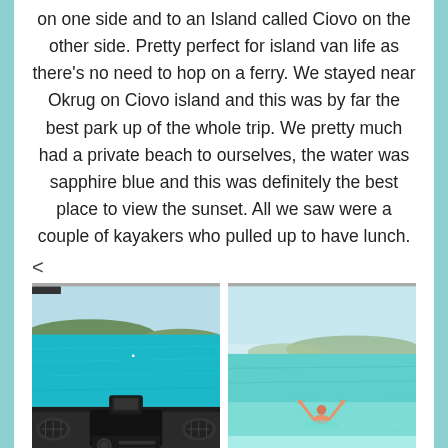on one side and to an Island called Ciovo on the other side. Pretty perfect for island van life as there's no need to hop on a ferry. We stayed near Okrug on Ciovo island and this was by far the best park up of the whole trip. We pretty much had a private beach to ourselves, the water was sapphire blue and this was definitely the best place to view the sunset. All we saw were a couple of kayakers who pulled up to have lunch.
<
[Figure (photo): View from inside a camper van dashboard showing turquoise ocean water and green hills/island in the background. Van dashboard controls visible in foreground.]
[Figure (photo): Person standing in very clear shallow turquoise water with arms raised, with a rocky island and clear sky in the background.]